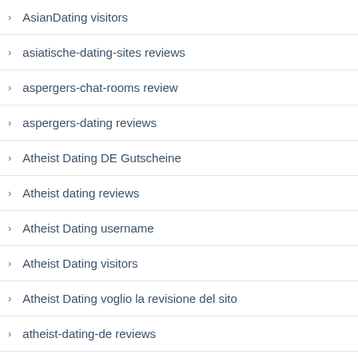AsianDating visitors
asiatische-dating-sites reviews
aspergers-chat-rooms review
aspergers-dating reviews
Atheist Dating DE Gutscheine
Atheist dating reviews
Atheist Dating username
Atheist Dating visitors
Atheist Dating voglio la revisione del sito
atheist-dating-de reviews